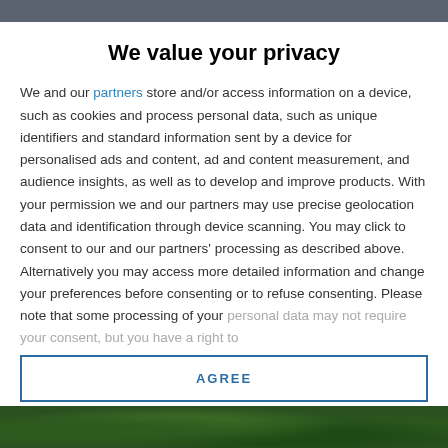We value your privacy
We and our partners store and/or access information on a device, such as cookies and process personal data, such as unique identifiers and standard information sent by a device for personalised ads and content, ad and content measurement, and audience insights, as well as to develop and improve products. With your permission we and our partners may use precise geolocation data and identification through device scanning. You may click to consent to our and our partners' processing as described above. Alternatively you may access more detailed information and change your preferences before consenting or to refuse consenting. Please note that some processing of your personal data may not require your consent, but you have a right to
AGREE
MORE OPTIONS
[Figure (photo): Bottom strip showing a nature/jungle scene with green foliage]